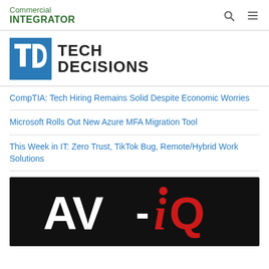Commercial INTEGRATOR
[Figure (logo): Tech Decisions logo — blue square with TD letters in white, followed by bold text TECH DECISIONS]
CompTIA: Tech Hiring Remains Solid Despite Economic Worries
Microsoft Rolls Out New Azure MFA Migration Tool
This Week in IT: Zero Trust, TikTok Bug, Remote/Hybrid Work Solutions
[Figure (logo): AV-iQ logo — white AV- text with red iQ in italic on a black background]